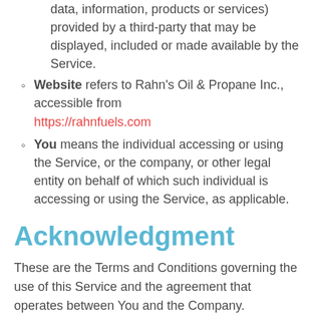data, information, products or services) provided by a third-party that may be displayed, included or made available by the Service.
Website refers to Rahn’s Oil & Propane Inc., accessible from https://rahnfuels.com
You means the individual accessing or using the Service, or the company, or other legal entity on behalf of which such individual is accessing or using the Service, as applicable.
Acknowledgment
These are the Terms and Conditions governing the use of this Service and the agreement that operates between You and the Company.